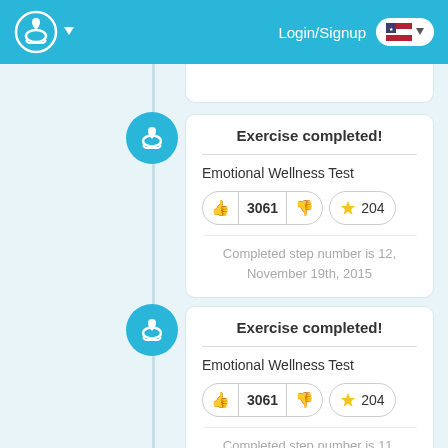Login/Signup
Exercise completed!
Emotional Wellness Test
3061  204
Completed step number is 12, November 19th, 2015
Exercise completed!
Emotional Wellness Test
3061  204
Completed step number is 11,